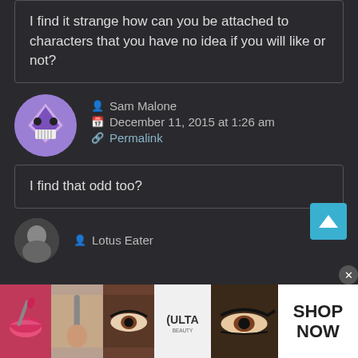I find it strange how can you be attached to characters that you have no idea if you will like or not?
Sam Malone
December 11, 2015 at 1:26 am
Permalink
I find that odd too?
Lotus Eater
[Figure (infographic): Advertisement banner for ULTA beauty with makeup images and SHOP NOW button]